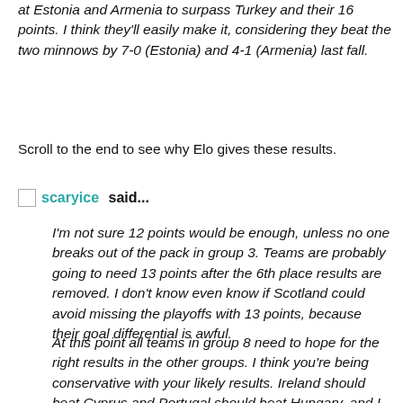at Estonia and Armenia to surpass Turkey and their 16 points. I think they'll easily make it, considering they beat the two minnows by 7-0 (Estonia) and 4-1 (Armenia) last fall.
Scroll to the end to see why Elo gives these results.
scaryice said...
I'm not sure 12 points would be enough, unless no one breaks out of the pack in group 3. Teams are probably going to need 13 points after the 6th place results are removed. I don't know even know if Scotland could avoid missing the playoffs with 13 points, because their goal differential is awful.
At this point all teams in group 8 need to hope for the right results in the other groups. I think you're being conservative with your likely results. Ireland should beat Cyprus and Portugal should beat Hungary, and I don't see Israel and Turkey finishing second in their groups.